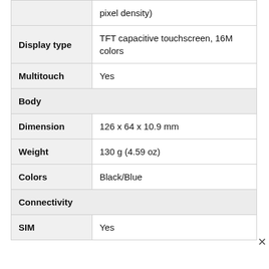|  | pixel density) |
| Display type | TFT capacitive touchscreen, 16M colors |
| Multitouch | Yes |
| Body |  |
| Dimension | 126  x  64  x  10.9 mm |
| Weight | 130 g (4.59 oz) |
| Colors | Black/Blue |
| Connectivity |  |
| SIM | Yes |